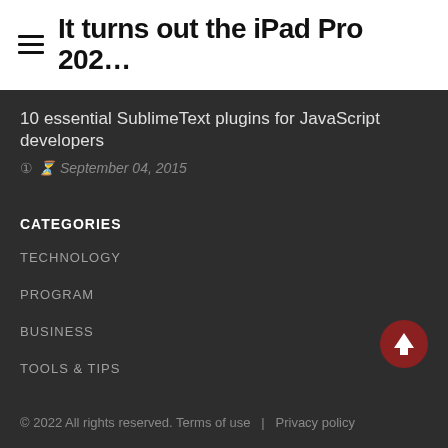It turns out the iPad Pro 202…
10 essential SublimeText plugins for JavaScript developers
September 04, 2015
CATEGORIES
TECHNOLOGY
PROGRAM
BUSINESS
TOOLS & TIPS
[Figure (illustration): Scroll-to-top circular button with upward arrow, dark red background]
© 2022 All rights reserved. Terms of use  |  Privacy policy